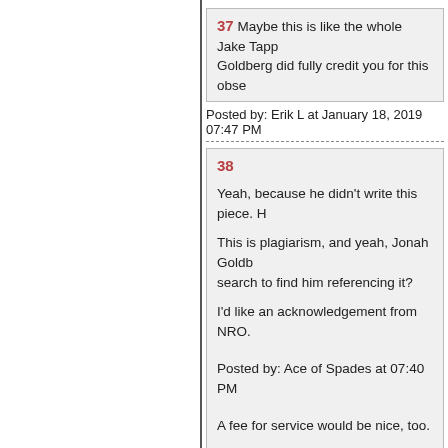37 Maybe this is like the whole Jake Tapp... Goldberg did fully credit you for this obse...
Posted by: Erik L at January 18, 2019 07:47 PM
38

Yeah, because he didn't write this piece. H...

This is plagiarism, and yeah, Jonah Goldb... search to find him referencing it?

I'd like an acknowledgement from NRO.

Posted by: Ace of Spades at 07:40 PM

A fee for service would be nice, too.

Don't let the bastards off cheap, Ace!
Posted by: Leftists at January 18, 2019 07:47 PM